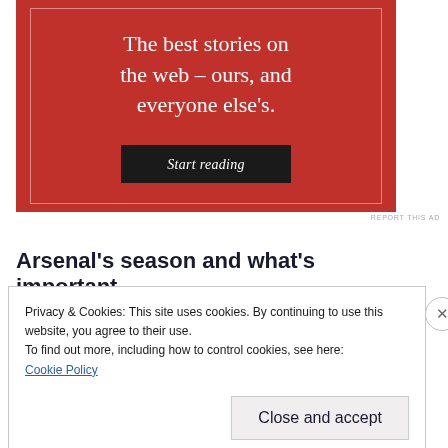[Figure (other): Red advertisement banner with white serif text reading 'The best stories on the web – ours, and everyone else's.' and a dark 'Start reading' button]
REPORT THIS AD
Arsenal's season and what's important
Privacy & Cookies: This site uses cookies. By continuing to use this website, you agree to their use.
To find out more, including how to control cookies, see here:
Cookie Policy
Close and accept